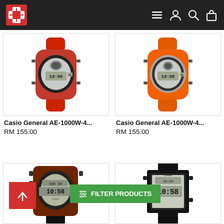Navigation header with logo and icons
[Figure (photo): Casio General digital watch with red rubber strap]
[Figure (photo): Casio General digital watch with orange rubber strap]
Casio General AE-1000W-4...
Casio General AE-1000W-4...
RM 155.00
RM 155.00
[Figure (photo): Casio digital watch with dark brown/black strap, bottom left partial view]
[Figure (photo): Casio digital watch with black strap, bottom right partial view]